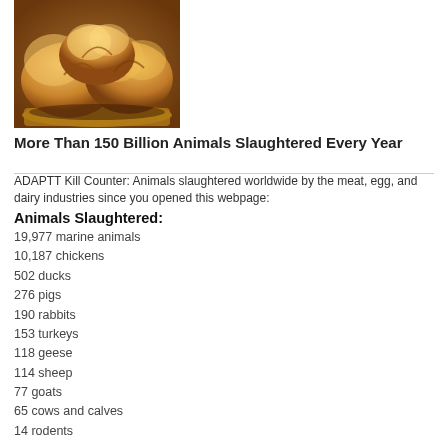[Figure (photo): Photo of bread loaves, golden brown, arranged on a tray]
More Than 150 Billion Animals Slaughtered Every Year
ADAPTT Kill Counter: Animals slaughtered worldwide by the meat, egg, and dairy industries since you opened this webpage:
Animals Slaughtered:
19,977 marine animals
10,187 chickens
502 ducks
276 pigs
190 rabbits
153 turkeys
118 geese
114 sheep
77 goats
65 cows and calves
14 rodents